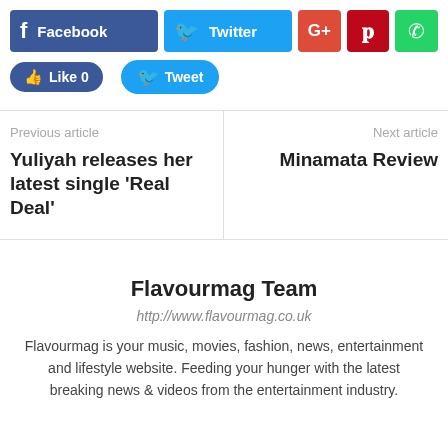[Figure (screenshot): Social sharing buttons: Facebook, Twitter, Google+, Pinterest, WhatsApp, Like, Tweet]
Previous article
Yuliyah releases her latest single ‘Real Deal’
Next article
Minamata Review
Flavourmag Team
http://www.flavourmag.co.uk
Flavourmag is your music, movies, fashion, news, entertainment and lifestyle website. Feeding your hunger with the latest breaking news & videos from the entertainment industry.